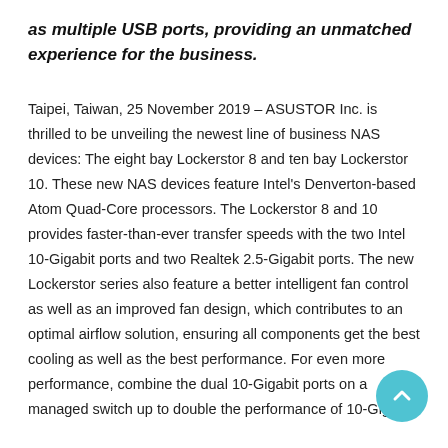as multiple USB ports, providing an unmatched experience for the business.
Taipei, Taiwan, 25 November 2019 – ASUSTOR Inc. is thrilled to be unveiling the newest line of business NAS devices: The eight bay Lockerstor 8 and ten bay Lockerstor 10. These new NAS devices feature Intel's Denverton-based Atom Quad-Core processors. The Lockerstor 8 and 10 provides faster-than-ever transfer speeds with the two Intel 10-Gigabit ports and two Realtek 2.5-Gigabit ports. The new Lockerstor series also feature a better intelligent fan control as well as an improved fan design, which contributes to an optimal airflow solution, ensuring all components get the best cooling as well as the best performance. For even more performance, combine the dual 10-Gigabit ports on a managed switch up to double the performance of 10-Gigabit.